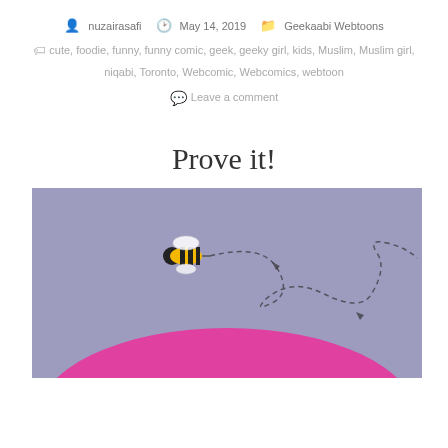nuzairasafi  May 14, 2019  Geekaabi Webtoons
cute, foodie, funny, funny comic, geek, geeky girl, kids, Muslim, Muslim girl, niqabi, Toronto, Webcomic, Webcomics, webtoon
Leave a comment
Prove it!
[Figure (illustration): A cartoon bee flying against a purple background above a pink mound, leaving a dashed looping trail behind it.]